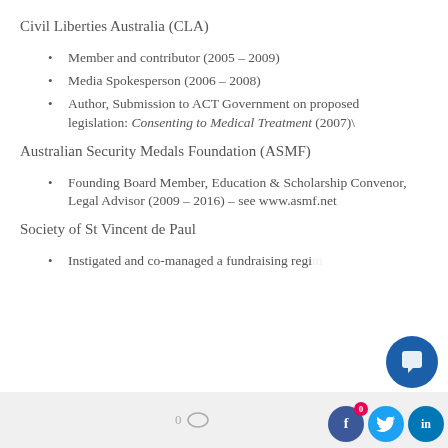Civil Liberties Australia (CLA)
Member and contributor (2005 – 2009)
Media Spokesperson (2006 – 2008)
Author, Submission to ACT Government on proposed legislation: Consenting to Medical Treatment (2007)\
Australian Security Medals Foundation (ASMF)
Founding Board Member, Education & Scholarship Convenor, Legal Advisor (2009 – 2016) – see www.asmf.net
Society of St Vincent de Paul
Instigated and co-managed a fundraising regi…
0  [comment icon] [facebook] [twitter] [linkedin]